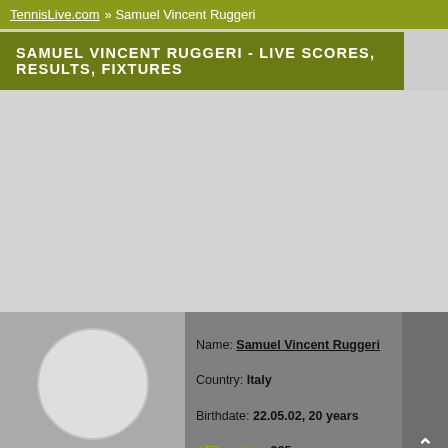TennisLive.com » Samuel Vincent Ruggeri
SAMUEL VINCENT RUGGERI - LIVE SCORES, RESULTS, FIXTURES
[Figure (photo): Grey content area placeholder]
[Figure (photo): Circular profile photo placeholder — grey circle on darker grey background]
Name: Samuel Vincent Ruggeri
Country: Italy
Birthdate: 22.05.02, 20 years
ATP ranking: 385
TOP ranking's position: 383 (15.08.22, 108 points)